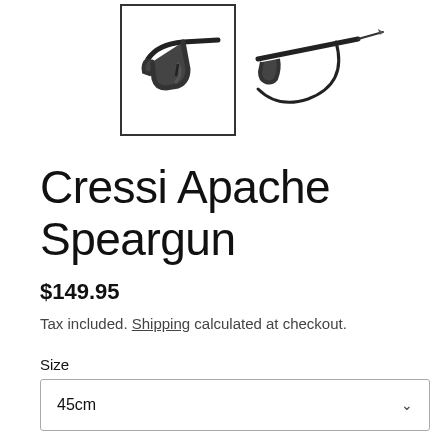[Figure (photo): Two product images of the Cressi Apache Speargun. Left image shows the trigger/handle portion in a bordered thumbnail box. Right image shows the full speargun with cord/band and spear tip.]
Cressi Apache Speargun
$149.95
Tax included. Shipping calculated at checkout.
Size
45cm
Quantity